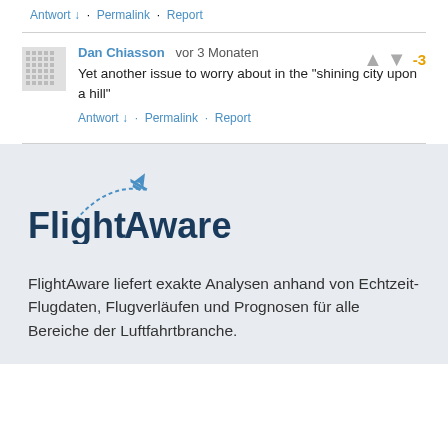Antwort ↓ · Permalink · Report
Dan Chiasson  vor 3 Monaten
Yet another issue to worry about in the "shining city upon a hill"
Antwort ↓ · Permalink · Report
[Figure (logo): FlightAware logo with airplane icon and dashed arc]
FlightAware liefert exakte Analysen anhand von Echtzeit-Flugdaten, Flugverläufen und Prognosen für alle Bereiche der Luftfahrtbranche.